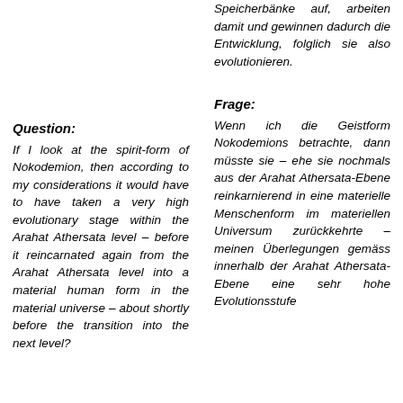Speicherbänke auf, arbeiten damit und gewinnen dadurch die Entwicklung, folglich sie also evolutionieren.
Question:
If I look at the spirit-form of Nokodemion, then according to my considerations it would have to have taken a very high evolutionary stage within the Arahat Athersata level – before it reincarnated again from the Arahat Athersata level into a material human form in the material universe – about shortly before the transition into the next level?
Frage:
Wenn ich die Geistform Nokodemions betrachte, dann müsste sie – ehe sie nochmals aus der Arahat Athersata-Ebene reinkarnierend in eine materielle Menschenform im materiellen Universum zurückkehrte – meinen Überlegungen gemäss innerhalb der Arahat Athersata-Ebene eine sehr hohe Evolutionsstufe